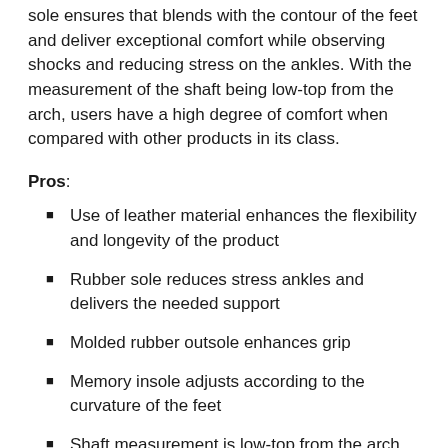sole ensures that blends with the contour of the feet and deliver exceptional comfort while observing shocks and reducing stress on the ankles. With the measurement of the shaft being low-top from the arch, users have a high degree of comfort when compared with other products in its class.
Pros:
Use of leather material enhances the flexibility and longevity of the product
Rubber sole reduces stress ankles and delivers the needed support
Molded rubber outsole enhances grip
Memory insole adjusts according to the curvature of the feet
Shaft measurement is low-top from the arch
Cons: